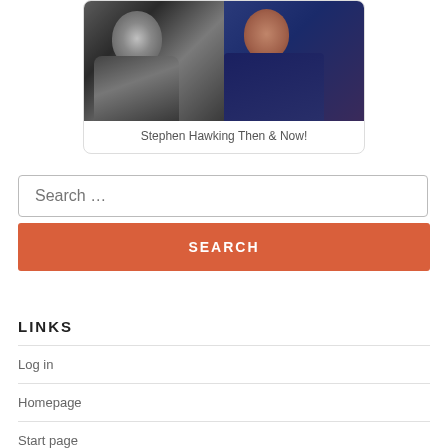[Figure (photo): Two side-by-side photos of Stephen Hawking: a black-and-white photo on the left (younger) and a color photo on the right (older, in wheelchair)]
Stephen Hawking Then & Now!
Search …
SEARCH
LINKS
Log in
Homepage
Start page